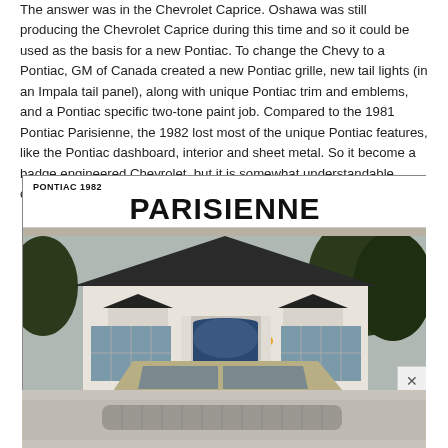The answer was in the Chevrolet Caprice. Oshawa was still producing the Chevrolet Caprice during this time and so it could be used as the basis for a new Pontiac. To change the Chevy to a Pontiac, GM of Canada created a new Pontiac grille, new tail lights (in an Impala tail panel), along with unique Pontiac trim and emblems, and a Pontiac specific two-tone paint job. Compared to the 1981 Pontiac Parisienne, the 1982 lost most of the unique Pontiac features, like the Pontiac dashboard, interior and sheet metal. So it become a badge engineered Chevrolet, but it is somewhat understandable considering the context of the situation at hand.
[Figure (photo): Advertisement image for the 1982 Pontiac Parisienne showing the text 'PONTIAC 1982' and 'PARISIENNE' in bold large letters at the top, with a photograph of a gold/tan colored Pontiac Parisienne sedan parked in front of a white colonial-style house with trees in the background.]